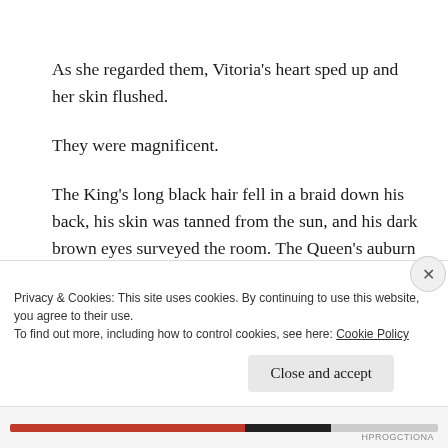As she regarded them, Vitoria’s heart sped up and her skin flushed.
They were magnificent.
The King’s long black hair fell in a braid down his back, his skin was tanned from the sun, and his dark brown eyes surveyed the room. The Queen’s auburn hair fell in soft waves over her bare, sun-bronzed breasts, her green eyes defiant and fixed on a man with tawny brown skin and grey hair, who was standing at a
Privacy & Cookies: This site uses cookies. By continuing to use this website, you agree to their use.
To find out more, including how to control cookies, see here: Cookie Policy
Close and accept